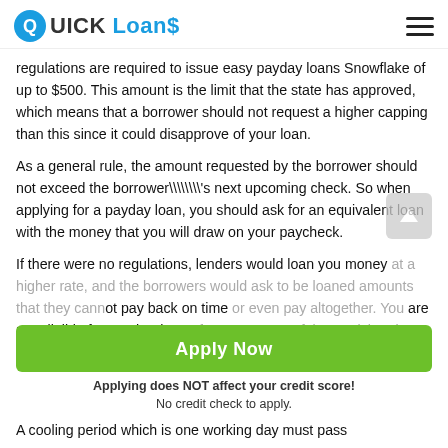QUICK Loans
regulations are required to issue easy payday loans Snowflake of up to $500. This amount is the limit that the state has approved, which means that a borrower should not request a higher capping than this since it could disapprove of your loan.
As a general rule, the amount requested by the borrower should not exceed the borrower\\\\'s next upcoming check. So when applying for a payday loan, you should ask for an equivalent loan with the money that you will draw on your paycheck.
If there were no regulations, lenders would loan you money at a higher rate, and the borrowers would ask to be loaned amounts that they cannot pay back on time or even pay altogether. You are not eligible for another loan after two successful re...
[Figure (other): Green 'Apply Now' button overlay with subtext 'Applying does NOT affect your credit score! No credit check to apply.']
A cooling period which is one working day must pass...